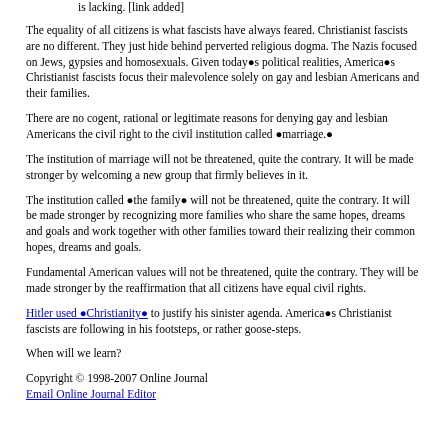is lacking. [link added]
The equality of all citizens is what fascists have always feared. Christianist fascists are no different. They just hide behind perverted religious dogma. The Nazis focused on Jews, gypsies and homosexuals. Given today●s political realities, America●s Christianist fascists focus their malevolence solely on gay and lesbian Americans and their families.
There are no cogent, rational or legitimate reasons for denying gay and lesbian Americans the civil right to the civil institution called ●marriage.●
The institution of marriage will not be threatened, quite the contrary. It will be made stronger by welcoming a new group that firmly believes in it.
The institution called ●the family● will not be threatened, quite the contrary. It will be made stronger by recognizing more families who share the same hopes, dreams and goals and work together with other families toward their realizing their common hopes, dreams and goals.
Fundamental American values will not be threatened, quite the contrary. They will be made stronger by the reaffirmation that all citizens have equal civil rights.
Hitler used ●Christianity● to justify his sinister agenda. America●s Christianist fascists are following in his footsteps, or rather goose-steps.
When will we learn?
Copyright © 1998-2007 Online Journal
Email Online Journal Editor